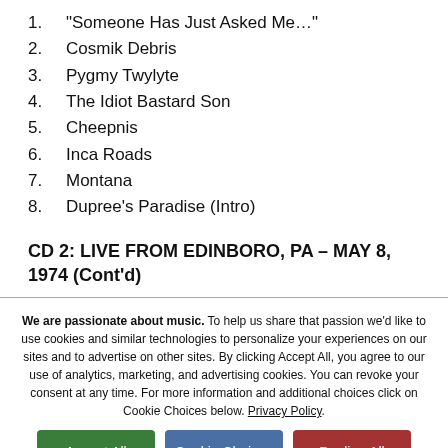1. “Someone Has Just Asked Me…”
2. Cosmik Debris
3. Pygmy Twylyte
4. The Idiot Bastard Son
5. Cheepnis
6. Inca Roads
7. Montana
8. Dupree’s Paradise (Intro)
CD 2: LIVE FROM EDINBORO, PA – MAY 8, 1974 (Cont’d)
We are passionate about music. To help us share that passion we’d like to use cookies and similar technologies to personalize your experiences on our sites and to advertise on other sites. By clicking Accept All, you agree to our use of analytics, marketing, and advertising cookies. You can revoke your consent at any time. For more information and additional choices click on Cookie Choices below. Privacy Policy.